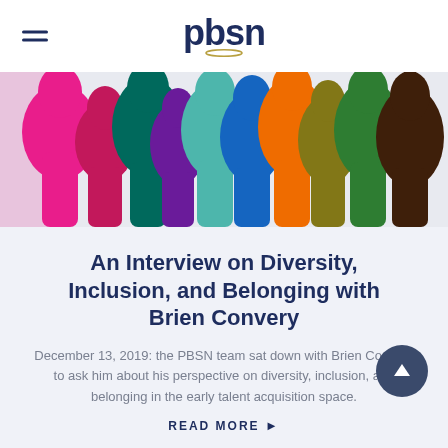pbsn
[Figure (illustration): Colorful overlapping silhouette profiles of diverse people facing each other in pink, teal, purple, blue, orange, green, and dark brown colors.]
An Interview on Diversity, Inclusion, and Belonging with Brien Convery
December 13, 2019: the PBSN team sat down with Brien Convery to ask him about his perspective on diversity, inclusion, and belonging in the early talent acquisition space.
READ MORE ▶